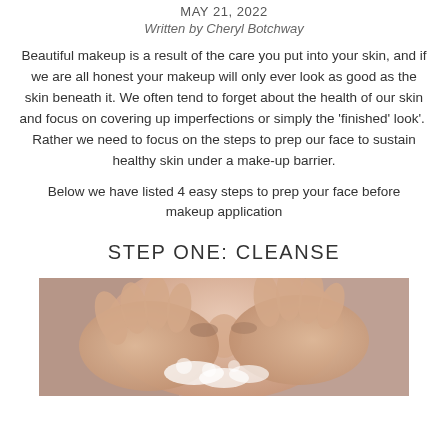MAY 21, 2022
Written by Cheryl Botchway
Beautiful makeup is a result of the care you put into your skin, and if we are all honest your makeup will only ever look as good as the skin beneath it. We often tend to forget about the health of our skin and focus on covering up imperfections or simply the 'finished' look'.  Rather we need to focus on the steps to prep our face to sustain healthy skin under a make-up barrier.
Below we have listed 4 easy steps to prep your face before makeup application
STEP ONE: CLEANSE
[Figure (photo): Close-up photo of a person washing their face with foam/soap, hands pressed against face, skin visible with lather]